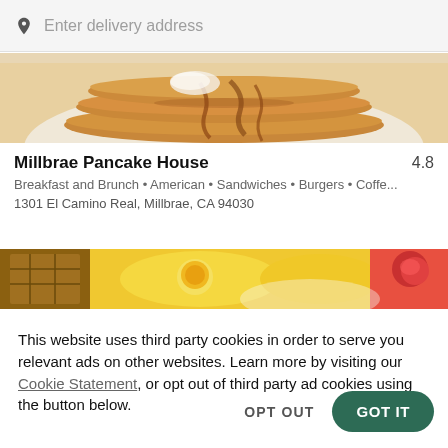Enter delivery address
[Figure (photo): Close-up photo of a stack of pancakes with syrup drizzled over the top]
Millbrae Pancake House  4.8
Breakfast and Brunch • American • Sandwiches • Burgers • Coffe...
1301 El Camino Real, Millbrae, CA 94030
[Figure (photo): Photo of breakfast food items including eggs and fruit]
This website uses third party cookies in order to serve you relevant ads on other websites. Learn more by visiting our Cookie Statement, or opt out of third party ad cookies using the button below.
OPT OUT
GOT IT